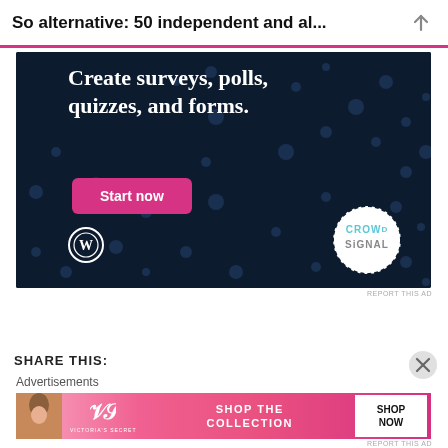So alternative: 50 independent and al...
[Figure (screenshot): Crowd Signal advertisement banner on dark navy background with dotted pattern. Text reads 'Create surveys, polls, quizzes, and forms.' with a pink 'Start now' button, WordPress logo bottom left, and Crowd Signal logo in white circle bottom right.]
REPORT THIS AD
SHARE THIS:
Advertisements
[Figure (screenshot): Victoria's Secret advertisement banner with pink gradient background, model photo on left, VS logo, 'SHOP THE COLLECTION' text, and 'SHOP NOW' white button.]
REPORT THIS AD